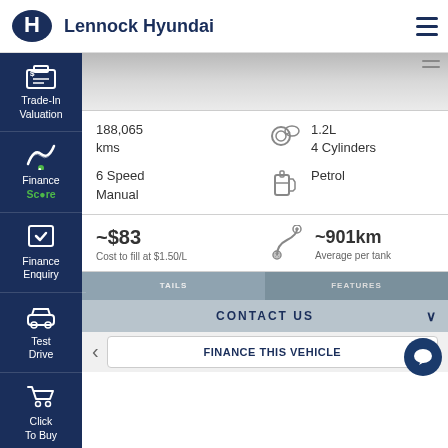Lennock Hyundai
[Figure (logo): Hyundai H logo in blue oval]
Trade-In Valuation
Finance Score
Finance Enquiry
Test Drive
Click To Buy
[Figure (photo): Partial car image strip]
188,065 kms
1.2L
4 Cylinders
6 Speed Manual
Petrol
~$83
Cost to fill at $1.50/L
~901km
Average per tank
CONTACT US
FINANCE THIS VEHICLE